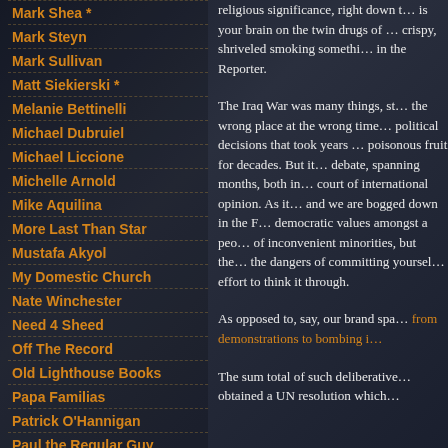Mark Shea *
Mark Steyn
Mark Sullivan
Matt Siekierski *
Melanie Bettinelli
Michael Dubruiel
Michael Liccione
Michelle Arnold
Mike Aquilina
More Last Than Star
Mustafa Akyol
My Domestic Church
Nate Winchester
Need 4 Sheed
Off The Record
Old Lighthouse Books
Papa Familias
Patrick O'Hannigan
Paul the Regular Guy
religious significance, right down t… is your brain on the twin drugs of … crispy, shriveled smoking somethi… in the Reporter.
The Iraq War was many things, st… the wrong place at the wrong time… political decisions that took years … poisonous fruit for decades. But it … debate, spanning months, both in … court of international opinion. As it… and we are bogged down in the F… democratic values amongst a peo… of inconvenient minorities, but the… the dangers of committing yoursel… effort to think it through.
As opposed to, say, our brand spa… from demonstrations to bombing i…
The sum total of such deliberative… obtained a UN resolution which…